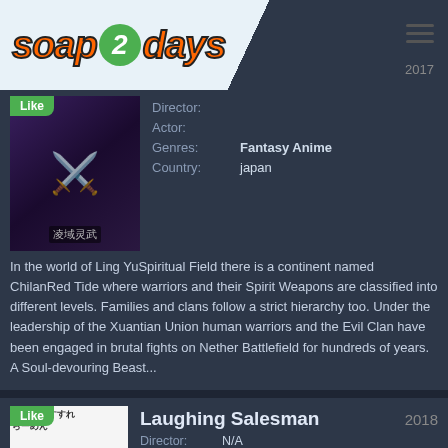soap 2 days
[Figure (screenshot): Partially visible anime show thumbnail with Like badge]
Director:
Actor:
Genres: Fantasy Anime
Country: japan
In the world of Ling YuSpiritual Field there is a continent named ChilanRed Tide where warriors and their Spirit Weapons are classified into different levels. Families and clans follow a strict hierarchy too. Under the leadership of the Xuantian Union human warriors and the Evil Clan have been engaged in brutal fights on Nether Battlefield for hundreds of years. A Soul-devouring Beast...
Watch Now | More Details
[Figure (screenshot): Laughing Salesman anime show thumbnail with Like badge]
Laughing Salesman
2018
Director: N/A
Actor: Amanda Bishop, David Collins, Adele Cosentino, Lucy Maher
Genres: Comedy Anime, Drama Anime
ecchi watch one piece online watch naruto dubbed